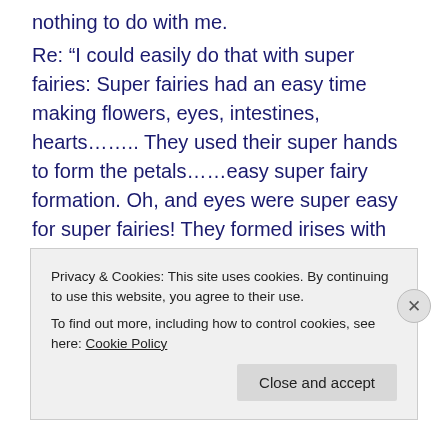nothing to do with me.
Re: “I could easily do that with super fairies: Super fairies had an easy time making flowers, eyes, intestines, hearts…….. They used their super hands to form the petals……easy super fairy formation. Oh, and eyes were super easy for super fairies! They formed irises with their super fingers and…….”
That is EXACTLY what you are claiming. In contrast, we understand the mechanism behind evolution, and it actually works. Additionally, experiments have shown
Privacy & Cookies: This site uses cookies. By continuing to use this website, you agree to their use.
To find out more, including how to control cookies, see here: Cookie Policy